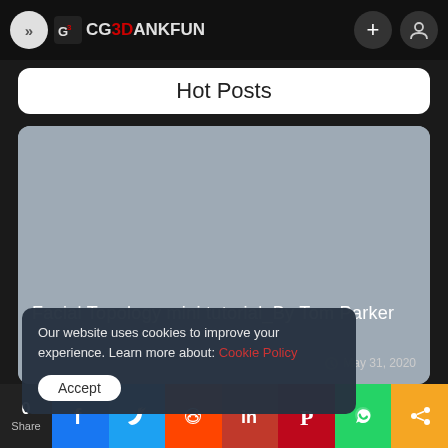CG3DANKFUN
Hot Posts
[Figure (screenshot): Gray placeholder image card with text 'Facial Topology mini tutorial_By Tom Parker' at bottom, date May 31, 2020]
Our website uses cookies to improve your experience. Learn more about: Cookie Policy
Accept
Share | Facebook | Twitter | Reddit | LinkedIn | Pinterest | WhatsApp | Share